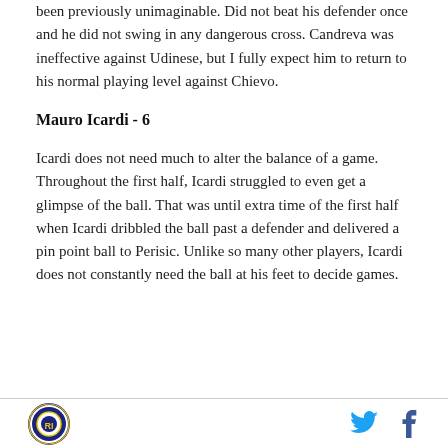been previously unimaginable. Did not beat his defender once and he did not swing in any dangerous cross. Candreva was ineffective against Udinese, but I fully expect him to return to his normal playing level against Chievo.
Mauro Icardi - 6
Icardi does not need much to alter the balance of a game. Throughout the first half, Icardi struggled to even get a glimpse of the ball. That was until extra time of the first half when Icardi dribbled the ball past a defender and delivered a pin point ball to Perisic. Unlike so many other players, Icardi does not constantly need the ball at his feet to decide games.
[Figure (logo): Circular sports team logo with dark blue border and gold/yellow circular emblem inside]